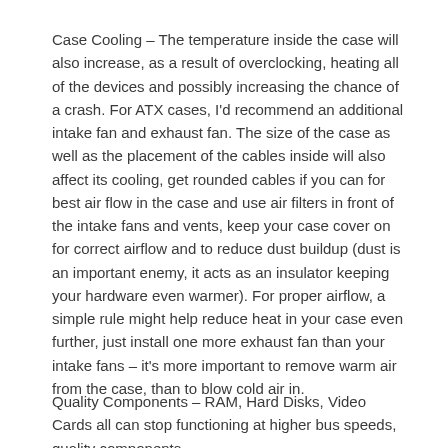Case Cooling – The temperature inside the case will also increase, as a result of overclocking, heating all of the devices and possibly increasing the chance of a crash. For ATX cases, I'd recommend an additional intake fan and exhaust fan. The size of the case as well as the placement of the cables inside will also affect its cooling, get rounded cables if you can for best air flow in the case and use air filters in front of the intake fans and vents, keep your case cover on for correct airflow and to reduce dust buildup (dust is an important enemy, it acts as an insulator keeping your hardware even warmer). For proper airflow, a simple rule might help reduce heat in your case even further, just install one more exhaust fan than your intake fans – it's more important to remove warm air from the case, than to blow cold air in.
Quality Components – RAM, Hard Disks, Video Cards all can stop functioning at higher bus speeds, quality components